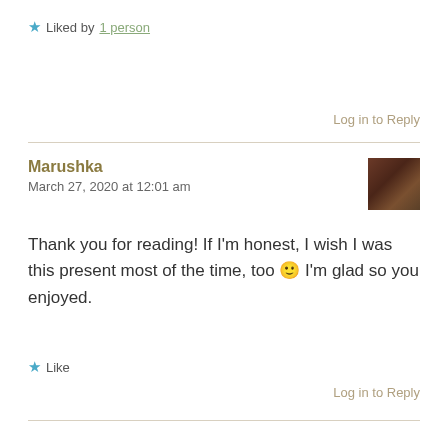★ Liked by 1 person
Log in to Reply
Marushka
March 27, 2020 at 12:01 am
[Figure (photo): Small square avatar photo of a person with dark hair and warm-toned background]
Thank you for reading! If I'm honest, I wish I was this present most of the time, too 🙂 I'm glad so you enjoyed.
★ Like
Log in to Reply